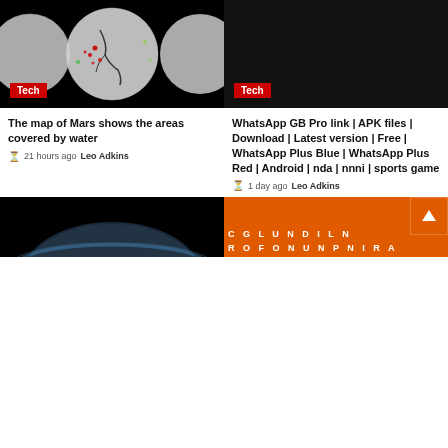[Figure (photo): Mars globes showing areas covered by water, on black background]
Tech
[Figure (photo): Dark/black image with Tech label]
Tech
The map of Mars shows the areas covered by water
21 hours ago  Leo Adkins
WhatsApp GB Pro link | APK files | Download | Latest version | Free | WhatsApp Plus Blue | WhatsApp Plus Red | Android | nda | nnni | sports game
1 day ago  Leo Adkins
[Figure (photo): Planet/Earth from space, dark background]
[Figure (other): Orange tile with text CGLUNDILN ROFONUNPNIRA and scroll-up button]